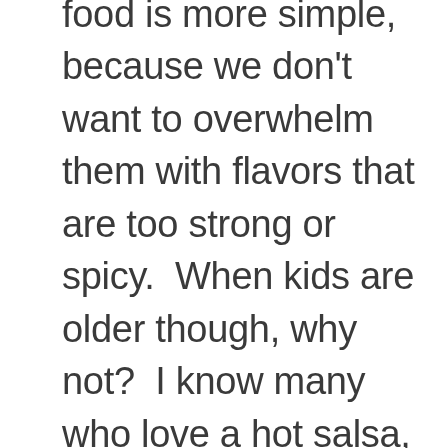food is more simple, because we don't want to overwhelm them with flavors that are too strong or spicy.  When kids are older though, why not?  I know many who love a hot salsa, pesto, or a good strong cheese.  Try a spicy bit of sausage in a creamy butternut squash soup, lemon risotto, or a roasted garlic rosemary bit of chicken and see what happens-they just might